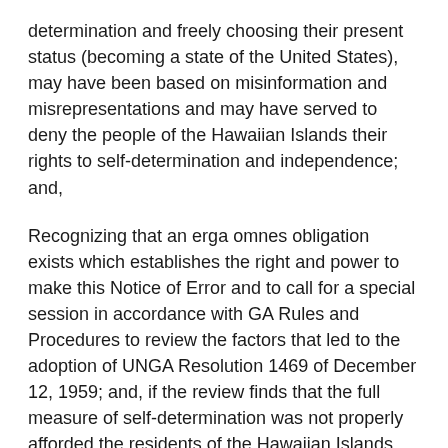determination and freely choosing their present status (becoming a state of the United States), may have been based on misinformation and misrepresentations and may have served to deny the people of the Hawaiian Islands their rights to self-determination and independence; and,
Recognizing that an erga omnes obligation exists which establishes the right and power to make this Notice of Error and to call for a special session in accordance with GA Rules and Procedures to review the factors that led to the adoption of UNGA Resolution 1469 of December 12, 1959; and, if the review finds that the full measure of self-determination was not properly afforded the residents of the Hawaiian Islands, as contemplated by Article 73 of the Charter, to take appropriate remedial steps to address any failures of the full measure of self-determination, taking into consideration the direct voices from the concerned residents of the Hawaiian Islands as so contemplated by the Charter of the United Nations.